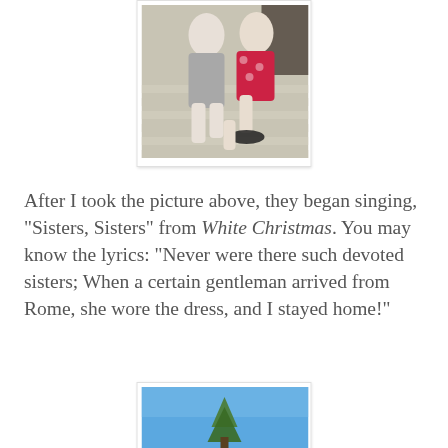[Figure (photo): Two women sitting on a wooden deck. One wears a gray swimsuit, the other wears a red floral dress with flip-flops. The image is framed with a white border and light shadow.]
After I took the picture above, they began singing, "Sisters, Sisters" from White Christmas. You may know the lyrics: "Never were there such devoted sisters; When a certain gentleman arrived from Rome, she wore the dress, and I stayed home!"
[Figure (photo): A photo showing a blue sky with the top of a tree visible at the bottom of the frame.]